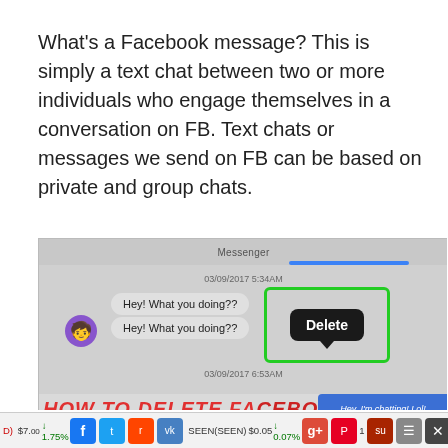What's a Facebook message? This is simply a text chat between two or more individuals who engage themselves in a conversation on FB. Text chats or messages we send on FB can be based on private and group chats.
[Figure (screenshot): Screenshot of Facebook Messenger showing two chat bubbles reading 'Hey! What you doing??' with a black 'Delete' tooltip popup highlighted in a green box, timestamps 03/09/2017 5:34AM and 03/09/2017 6:53AM visible, and a 'HOW TO DELETE FACEBOOK' overlay text at the bottom]
D) $7.00 ↓ 1.75% SEEN(SEEN) $0.05 ↓ 0.07% Gone(C46...